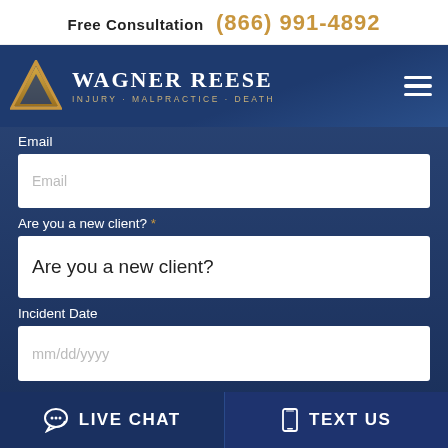Free Consultation (866) 991-4892
[Figure (logo): Wagner Reese law firm logo with gold triangle and white text reading WAGNER REESE / Injury · Malpractice · Death]
Email
Email (placeholder)
Are you a new client? *
Are you a new client? (dropdown)
Incident Date
mm/dd/yyyy (placeholder)
Message
Message (placeholder)
LIVE CHAT
TEXT US